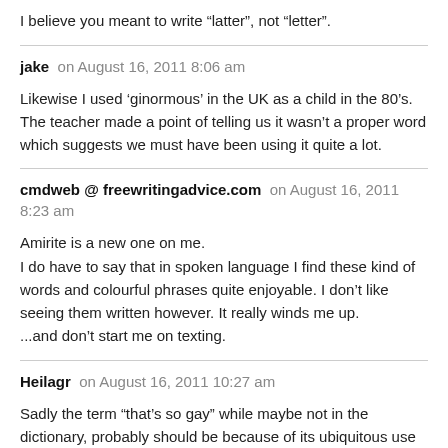I believe you meant to write “latter”, not “letter”.
jake on August 16, 2011 8:06 am
Likewise I used ‘ginormous’ in the UK as a child in the 80’s. The teacher made a point of telling us it wasn’t a proper word which suggests we must have been using it quite a lot.
cmdweb @ freewritingadvice.com on August 16, 2011 8:23 am
Amirite is a new one on me.
I do have to say that in spoken language I find these kind of words and colourful phrases quite enjoyable. I don’t like seeing them written however. It really winds me up.
...and don’t start me on texting.
Heilagr on August 16, 2011 10:27 am
Sadly the term “that’s so gay” while maybe not in the dictionary, probably should be because of its ubiquitous use by the under 30 population.
Sadly we went from Gay meaning happy, to homosexual, to being a